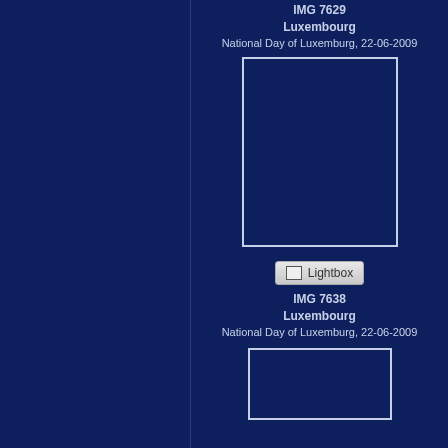IMG 7629
Luxembourg
National Day of Luxemburg, 22-06-2009
[Figure (photo): Large dark blue image placeholder with white border, portrait orientation]
[Figure (other): Lightbox button UI element]
IMG 7638
Luxembourg
National Day of Luxemburg, 22-06-2009
[Figure (photo): Partially visible dark blue image placeholder with white border at bottom of page]